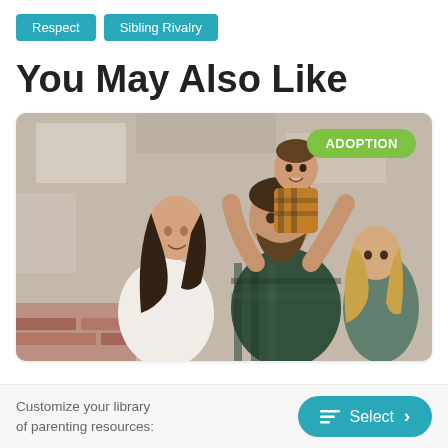Respect
Sibling Rivalry
You May Also Like
[Figure (photo): A family photo showing a woman with long dark hair, a bearded man holding a toddler in a plaid shirt, and a young girl, posed against a concrete/brick wall background. An 'ADOPTION' badge appears in the top-right corner of the image.]
Customize your library of parenting resources:
Select